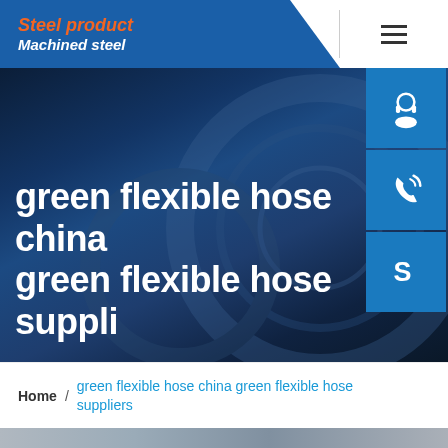Steel product / Machined steel
green flexible hose china green flexible hose suppliers
[Figure (screenshot): Blue hero banner background with industrial gear/pipe imagery]
[Figure (infographic): Three blue square icon buttons on right side: headset/customer support icon, phone icon, Skype icon]
Home / green flexible hose china green flexible hose suppliers
[Figure (photo): Bottom thumbnail strip of industrial product image]